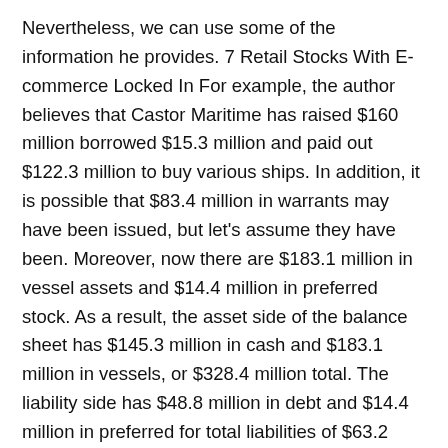Nevertheless, we can use some of the information he provides. 7 Retail Stocks With E-commerce Locked In For example, the author believes that Castor Maritime has raised $160 million borrowed $15.3 million and paid out $122.3 million to buy various ships. In addition, it is possible that $83.4 million in warrants may have been issued, but let's assume they have been. Moreover, now there are $183.1 million in vessel assets and $14.4 million in preferred stock. As a result, the asset side of the balance sheet has $145.3 million in cash and $183.1 million in vessels, or $328.4 million total. The liability side has $48.8 million in debt and $14.4 million in preferred for total liabilities of $63.2 million. This implies that $265.2 million in net assets. Since there are now also now 899.5 million in shares outstanding, according to the Seeking Alpha analyst, the NAV per share is 29.5 cents per share. The